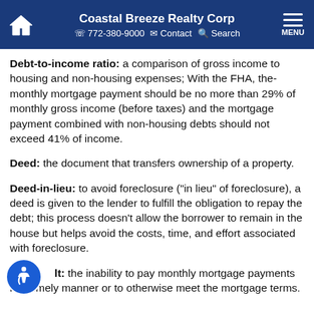Coastal Breeze Realty Corp | 772-380-9000 | Contact | Search | MENU
Debt-to-income ratio: a comparison of gross income to housing and non-housing expenses; With the FHA, the-monthly mortgage payment should be no more than 29% of monthly gross income (before taxes) and the mortgage payment combined with non-housing debts should not exceed 41% of income.
Deed: the document that transfers ownership of a property.
Deed-in-lieu: to avoid foreclosure ("in lieu" of foreclosure), a deed is given to the lender to fulfill the obligation to repay the debt; this process doesn't allow the borrower to remain in the house but helps avoid the costs, time, and effort associated with foreclosure.
Default: the inability to pay monthly mortgage payments in a timely manner or to otherwise meet the mortgage terms.